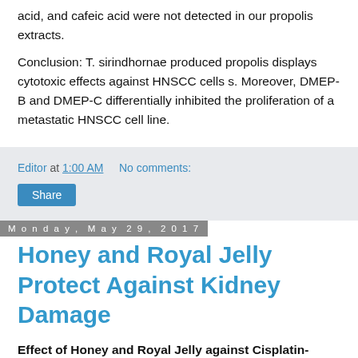acid, and cafeic acid were not detected in our propolis extracts.
Conclusion: T. sirindhornae produced propolis displays cytotoxic effects against HNSCC cells s. Moreover, DMEP-B and DMEP-C differentially inhibited the proliferation of a metastatic HNSCC cell line.
Editor at 1:00 AM   No comments:
Share
Monday, May 29, 2017
Honey and Royal Jelly Protect Against Kidney Damage
Effect of Honey and Royal Jelly against Cisplatin-Induced Nephrotoxicity in Patients with Cancer
J Am Coll Nutr. 2017 May 26:1-5.